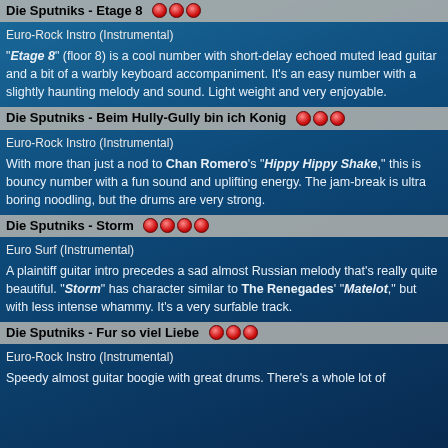Die Sputniks - Etage 8 [3 stars]
Euro-Rock Instro (Instrumental)
"Etage 8" (floor 8) is a cool number with short-delay echoed muted lead guitar and a bit of a warbly keyboard accompaniment. It's an easy number with a slightly haunting melody and sound. Light weight and very enjoyable.
Die Sputniks - Beim Hully-Gully bin ich Konig [3 stars]
Euro-Rock Instro (Instrumental)
With more than just a nod to Chan Romero's "Hippy Hippy Shake," this is bouncy number with a fun sound and uplifting energy. The jam-break is ultra boring noodling, but the drums are very strong.
Die Sputniks - Storm [4 stars]
Euro Surf (Instrumental)
A plaintiff guitar intro precedes a sad almost Russian melody that's really quite beautiful. "Storm" has character similar to The Renegades' "Matelot," but with less intense whammy. It's a very surfable track.
Die Sputniks - Fur so viel Liebe [3 stars]
Euro-Rock Instro (Instrumental)
Speedy almost guitar boogie with great drums. There's a whole lot of